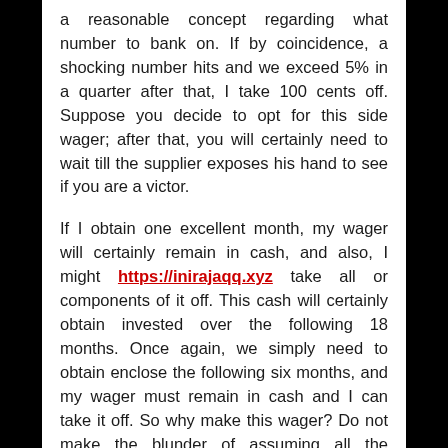a reasonable concept regarding what number to bank on. If by coincidence, a shocking number hits and we exceed 5% in a quarter after that, I take 100 cents off. Suppose you decide to opt for this side wager; after that, you will certainly need to wait till the supplier exposes his hand to see if you are a victor.
If I obtain one excellent month, my wager will certainly remain in cash, and also, I might https://inirajaqq.xyz take all or components of it off. This cash will certainly obtain invested over the following 18 months. Once again, we simply need to obtain enclose the following six months, and my wager must remain in cash and I can take it off. So why make this wager? Do not make the blunder of assuming all the beverages set you back the gambling establishment the very same quantity you pay